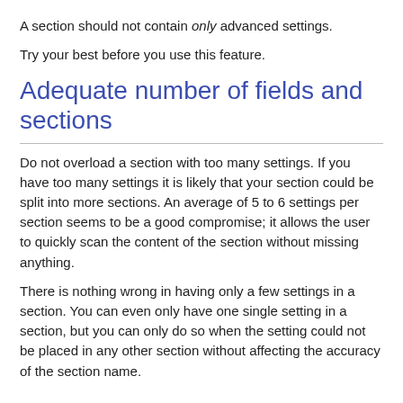A section should not contain only advanced settings.
Try your best before you use this feature.
Adequate number of fields and sections
Do not overload a section with too many settings. If you have too many settings it is likely that your section could be split into more sections. An average of 5 to 6 settings per section seems to be a good compromise; it allows the user to quickly scan the content of the section without missing anything.
There is nothing wrong in having only a few settings in a section. You can even only have one single setting in a section, but you can only do so when the setting could not be placed in any other section without affecting the accuracy of the section name.